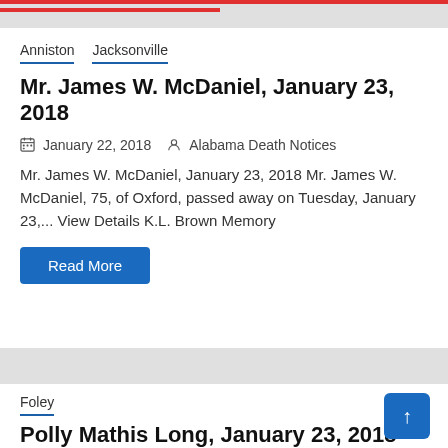Anniston   Jacksonville
Mr. James W. McDaniel, January 23, 2018
January 22, 2018   Alabama Death Notices
Mr. James W. McDaniel, January 23, 2018 Mr. James W. McDaniel, 75, of Oxford, passed away on Tuesday, January 23,... View Details K.L. Brown Memory
Read More
Foley
Polly Mathis Long, January 23, 2018
January 22, 2018   Alabama Death Notices